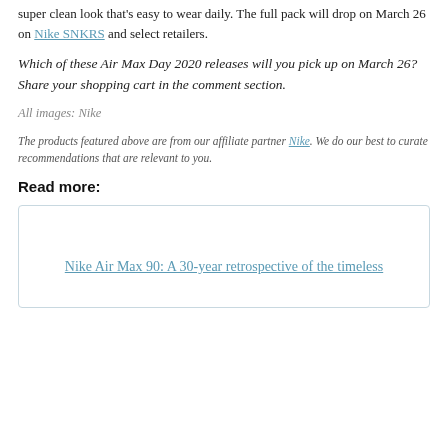super clean look that's easy to wear daily. The full pack will drop on March 26 on Nike SNKRS and select retailers.
Which of these Air Max Day 2020 releases will you pick up on March 26? Share your shopping cart in the comment section.
All images: Nike
The products featured above are from our affiliate partner Nike. We do our best to curate recommendations that are relevant to you.
Read more:
Nike Air Max 90: A 30-year retrospective of the timeless